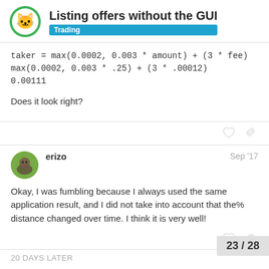Listing offers without the GUI — Trading
Does it look right?
erizo — Sep '17
Okay, I was fumbling because I always used the same application result, and I did not take into account that the% distance changed over time. I think it is very well!
20 DAYS LATER
23 / 28